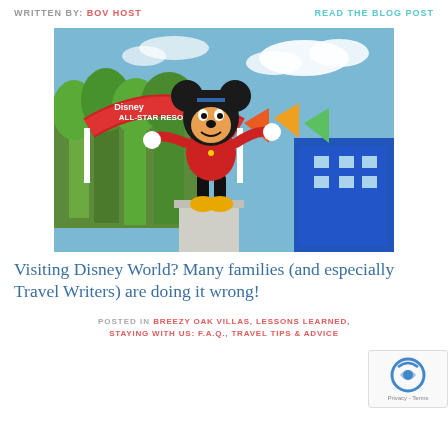WRITTEN BY: BOV HOST   READ THE BLOG POST
[Figure (photo): Mickey Mouse statue at Disney All-Star Resorts entrance, with colorful resort buildings and trees in background]
Visiting Disney World? Many families (and especially Travel Writers) are doing it wrong!
POSTED IN BREEZY OAK VILLAS, LESSONS LEARNED, STAYING WITH US: F.A.Q., TRAVEL TIPS & ADVICE